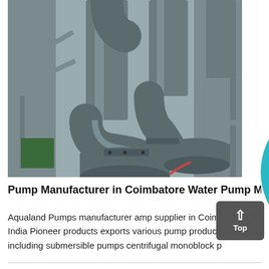[Figure (photo): Industrial pump installation showing large centrifugal pumps with curved intake pipes and cylindrical pump bodies in a grey industrial setting]
Pump Manufacturer in Coimbatore Water Pump M
Aqualand Pumps manufacturer amp supplier in Coimbatore India Pioneer products exports various pump products including submersible pumps centrifugal monoblock p